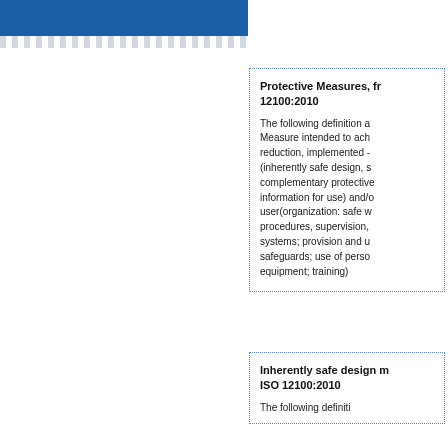[Figure (other): Blue header bar on left column, partially visible]
Protective Measures, from ISO 12100:2010
The following definition a... Measure intended to ach... reduction, implemented - (inherently safe design, s... complementary protective... information for use) and/o... user(organization: safe w... procedures, supervision,... systems; provision and u... safeguards; use of perso... equipment; training)
Inherently safe design m... ISO 12100:2010
The following definition...